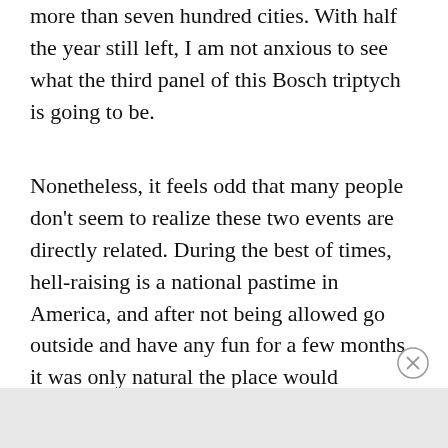more than seven hundred cities. With half the year still left, I am not anxious to see what the third panel of this Bosch triptych is going to be.
Nonetheless, it feels odd that many people don't seem to realize these two events are directly related. During the best of times, hell-raising is a national pastime in America, and after not being allowed go outside and have any fun for a few months it was only natural the place would explode. “Locking the country down filled the room with gas,” noted radio host Vincent Coglianese. “George Floyd lit the match.”